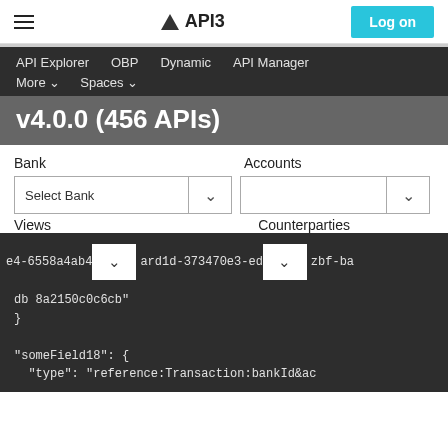API3 — Log on
API Explorer  OBP  Dynamic  API Manager  More  Spaces
v4.0.0 (456 APIs)
Bank   Accounts   Select Bank   Views   Counterparties
e4-6558a4ab4   ard1d-573470e3-ed   zbf-ba
db 8a2150c0c6cb
}

"someField18": {
  "type": "reference:Transaction:bankId&ac